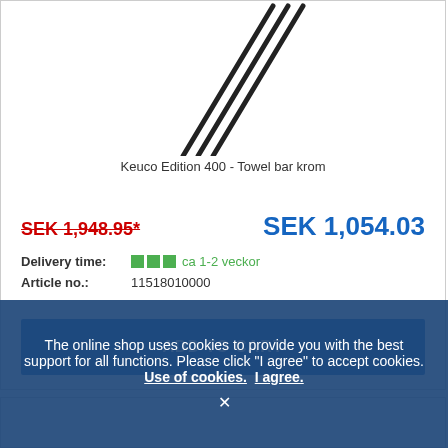[Figure (photo): Partial top view of Keuco Edition 400 Towel bar krom product image showing black towel bar rails against white background]
Keuco Edition 400 - Towel bar krom
SEK 1,948.95* SEK 1,054.03
Delivery time: ca 1-2 veckor
Article no.: 11518010000
ADD TO CART
The online shop uses cookies to provide you with the best support for all functions. Please click "I agree" to accept cookies. Use of cookies. I agree.
×